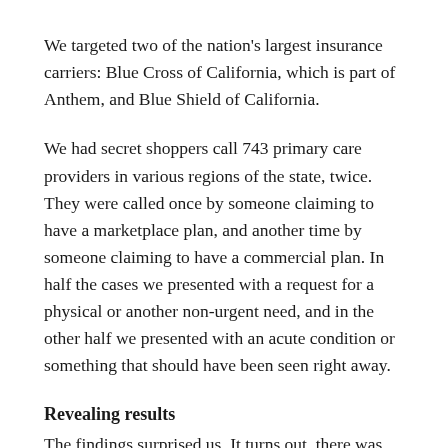We targeted two of the nation's largest insurance carriers: Blue Cross of California, which is part of Anthem, and Blue Shield of California.
We had secret shoppers call 743 primary care providers in various regions of the state, twice. They were called once by someone claiming to have a marketplace plan, and another time by someone claiming to have a commercial plan. In half the cases we presented with a request for a physical or another non-urgent need, and in the other half we presented with an acute condition or something that should have been seen right away.
Revealing results
The findings surprised us. It turns out, there was